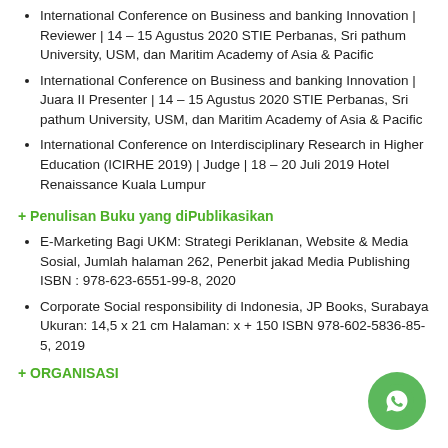International Conference on Business and banking Innovation | Reviewer | 14 – 15 Agustus 2020 STIE Perbanas, Sri pathum University, USM, dan Maritim Academy of Asia & Pacific
International Conference on Business and banking Innovation | Juara II Presenter | 14 – 15 Agustus 2020 STIE Perbanas, Sri pathum University, USM, dan Maritim Academy of Asia & Pacific
International Conference on Interdisciplinary Research in Higher Education (ICIRHE 2019) | Judge | 18 – 20 Juli 2019 Hotel Renaissance Kuala Lumpur
+ Penulisan Buku yang diPublikasikan
E-Marketing Bagi UKM: Strategi Periklanan, Website & Media Sosial, Jumlah halaman 262, Penerbit jakad Media Publishing ISBN : 978-623-6551-99-8, 2020
Corporate Social responsibility di Indonesia, JP Books, Surabaya Ukuran: 14,5 x 21 cm Halaman: x + 150 ISBN 978-602-5836-85-5, 2019
+ ORGANISASI
[Figure (illustration): WhatsApp floating button icon (green circle with WhatsApp logo)]